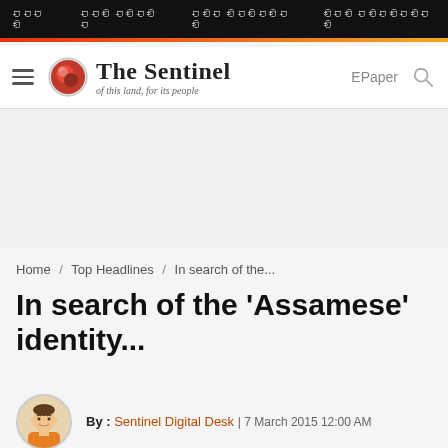The Sentinel — of this land, for its people
Home / Top Headlines / In search of the...
In search of the 'Assamese' identity...
By : Sentinel Digital Desk | 7 March 2015 12:00 AM